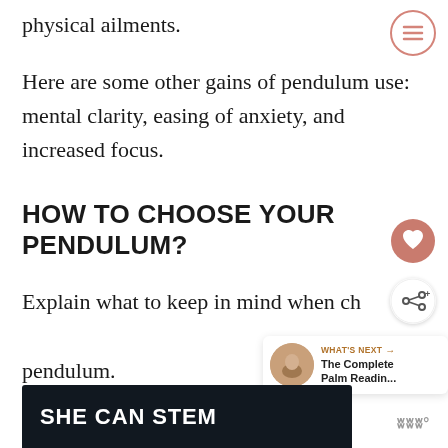physical ailments.
Here are some other gains of pendulum use: mental clarity, easing of anxiety, and increased focus.
HOW TO CHOOSE YOUR PENDULUM?
Explain what to keep in mind when choosing a pendulum.
[Figure (screenshot): Bottom advertisement banner showing 'SHE CAN STEM' in white bold text on dark background, with a logo to the right]
[Figure (other): Menu/hamburger icon in a salmon/rose circle, top right]
[Figure (other): Heart icon in a salmon/rose circle, right side]
[Figure (other): Share icon in a white circle with shadow, right side]
[Figure (other): What's Next promo widget showing 'The Complete Palm Readin...' with thumbnail]